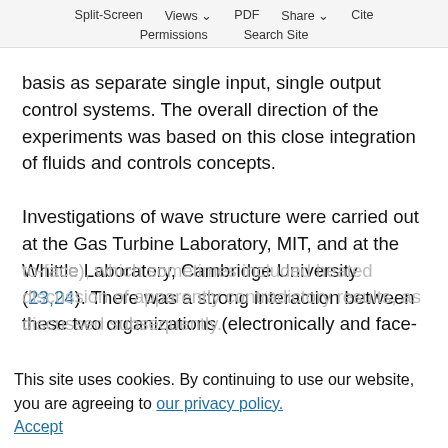Split-Screen  Views  PDF  Share  Cite  Permissions  Search Site
basis as separate single input, single output control systems. The overall direction of the experiments was based on this close integration of fluids and controls concepts.

Investigations of wave structure were carried out at the Gas Turbine Laboratory, MIT, and at the Whittle Laboratory, Cambridge University (23,24). There was a strong interaction between these two organizations (electronically and face-to-face), which sometimes included heated discussion of apparently contradictory results, as discussed subsequently.
This site uses cookies. By continuing to use our website, you are agreeing to our privacy policy.
Accept